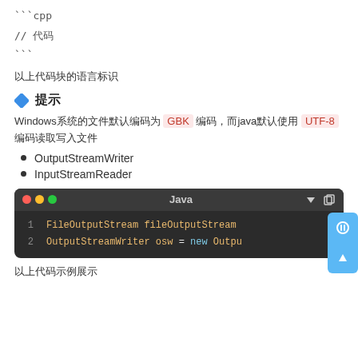```cpp
// 代码
```
以上代码块的语言标识
提示
Windows系统的文件默认编码为 GBK 编码，而java默认使用 UTF-8 编码读取写入文件
OutputStreamWriter
InputStreamReader
[Figure (screenshot): Java code editor window showing two lines: 1. FileOutputStream fileOutputStream 2. OutputStreamWriter osw = new Outpu...]
以上代码示例展示